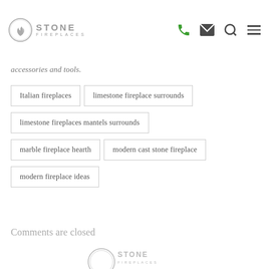Stone Fireplaces — navigation header with logo, phone, mail, search, and menu icons
accessories and tools.
Italian fireplaces
limestone fireplace surrounds
limestone fireplaces mantels surrounds
marble fireplace hearth
modern cast stone fireplace
modern fireplace ideas
Comments are closed
[Figure (logo): Stone Fireplaces partial logo at bottom of page]